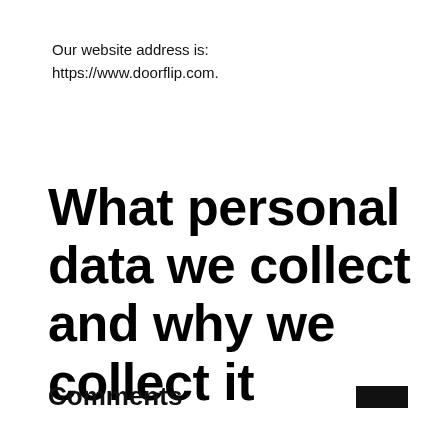Our website address is: https://www.doorflip.com.
What personal data we collect and why we collect it
Comments